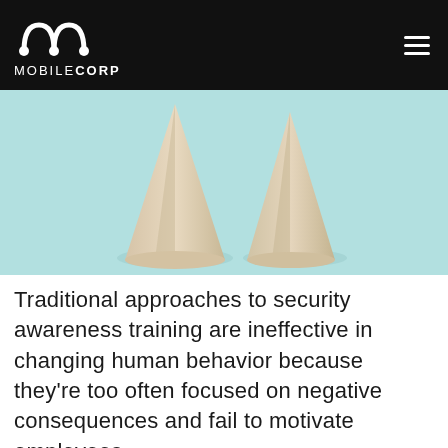MOBILECORP
[Figure (photo): Photo of two wooden cone-shaped pieces on a light blue background, shot from above/side angle]
Traditional approaches to security awareness training are ineffective in changing human behavior because they're too often focused on negative consequences and fail to motivate employees.